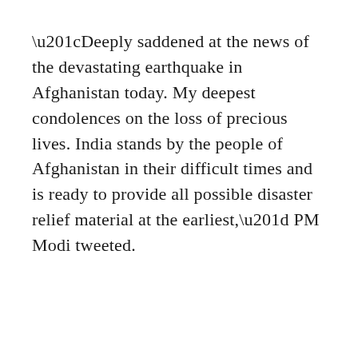“Deeply saddened at the news of the devastating earthquake in Afghanistan today. My deepest condolences on the loss of precious lives. India stands by the people of Afghanistan in their difficult times and is ready to provide all possible disaster relief material at the earliest,” PM Modi tweeted.